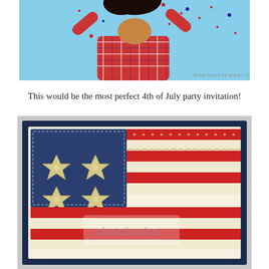[Figure (photo): Child in red gingham shirt with arms raised, confetti falling against blue sky background. Watermark 'MARTHASTEWART.COM' in bottom right.]
This would be the most perfect 4th of July party invitation!
[Figure (photo): Handmade 4th of July party invitation card styled as an American flag. Blue section with four cream/gold star buttons arranged 2x2, and red/white striped section made of decorative lace and polka dot ribbon. Dark navy border. Photobucket watermark visible.]